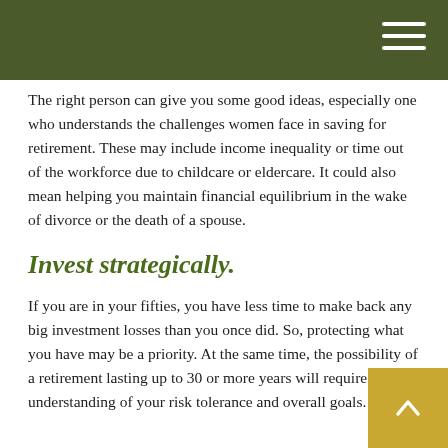The right person can give you some good ideas, especially one who understands the challenges women face in saving for retirement. These may include income inequality or time out of the workforce due to childcare or eldercare. It could also mean helping you maintain financial equilibrium in the wake of divorce or the death of a spouse.
Invest strategically.
If you are in your fifties, you have less time to make back any big investment losses than you once did. So, protecting what you have may be a priority. At the same time, the possibility of a retirement lasting up to 30 or more years will require a good understanding of your risk tolerance and overall goals.